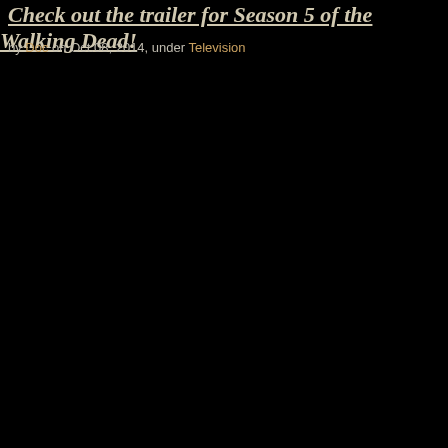Check out the trailer for Season 5 of the Walking Dead!
by Doc on Oct.08, 2014, under Television